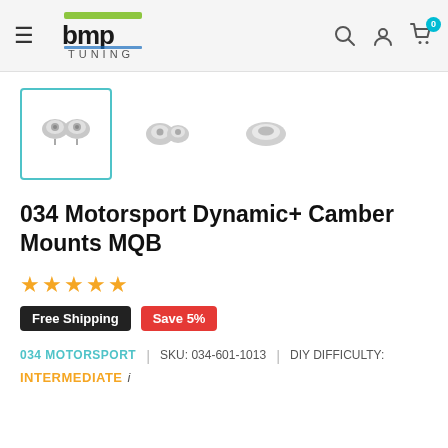BMP Tuning navigation header with logo, hamburger menu, search, account, and cart icons
[Figure (photo): Three product thumbnail images of 034 Motorsport Dynamic+ Camber Mounts MQB — first image selected/highlighted with teal border]
034 Motorsport Dynamic+ Camber Mounts MQB
★★★★★ (5 stars) | Free Shipping | Save 5%
034 MOTORSPORT | SKU: 034-601-1013 | DIY DIFFICULTY: INTERMEDIATE i